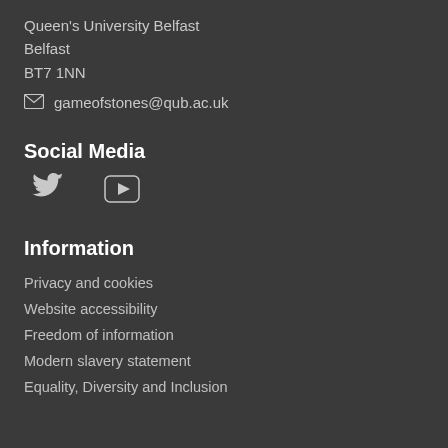Queen's University Belfast
Belfast
BT7 1NN
gameofstones@qub.ac.uk
Social Media
[Figure (infographic): Twitter bird icon and YouTube play button icon for social media links]
Information
Privacy and cookies
Website accessibility
Freedom of information
Modern slavery statement
Equality, Diversity and Inclusion